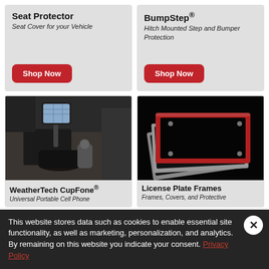Seat Protector
Seat Cover for your Vehicle
Shop Now
BumpStep®
Hitch Mounted Step and Bumper Protection
Shop Now
[Figure (photo): WeatherTech CupFone - phone mount in vehicle cup holder]
WeatherTech CupFone®
Universal Portable Cell Phone
[Figure (photo): License Plate Frames - stacked metal frames with red border]
License Plate Frames
Frames, Covers, and Protective
This website stores data such as cookies to enable essential site functionality, as well as marketing, personalization, and analytics. By remaining on this website you indicate your consent. Privacy Policy